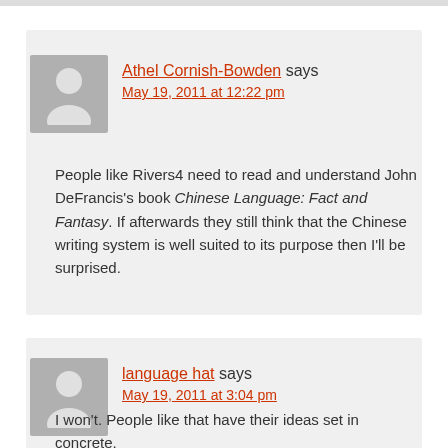Athel Cornish-Bowden says
May 19, 2011 at 12:22 pm
People like Rivers4 need to read and understand John DeFrancis's book Chinese Language: Fact and Fantasy. If afterwards they still think that the Chinese writing system is well suited to its purpose then I'll be surprised.
language hat says
May 19, 2011 at 3:04 pm
I won't. People like that have their ideas set in concrete.